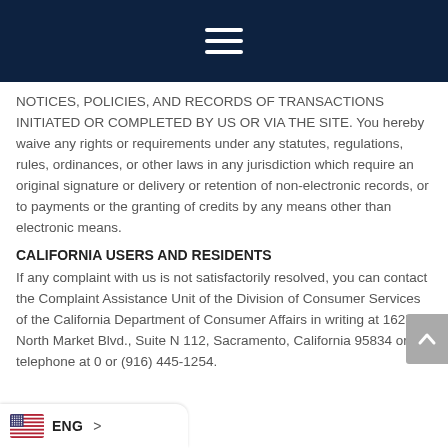[Figure (other): Dark navy navigation bar with hamburger menu icon (three white horizontal lines)]
NOTICES, POLICIES, AND RECORDS OF TRANSACTIONS INITIATED OR COMPLETED BY US OR VIA THE SITE. You hereby waive any rights or requirements under any statutes, regulations, rules, ordinances, or other laws in any jurisdiction which require an original signature or delivery or retention of non-electronic records, or to payments or the granting of credits by any means other than electronic means.
CALIFORNIA USERS AND RESIDENTS
If any complaint with us is not satisfactorily resolved, you can contact the Complaint Assistance Unit of the Division of Consumer Services of the California Department of Consumer Affairs in writing at 1625 North Market Blvd., Suite N 112, Sacramento, California 95834 or by telephone at 0 or (916) 445-1254.